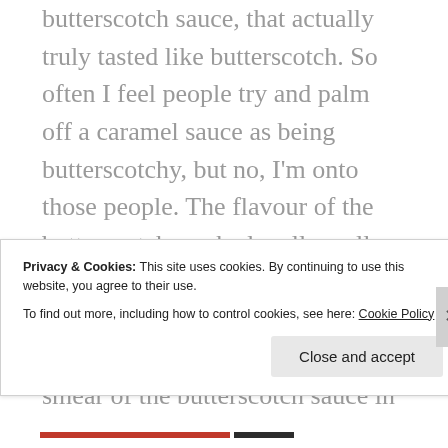butterscotch sauce, that actually truly tasted like butterscotch. So often I feel people try and palm off a caramel sauce as being butterscotchy, but no, I'm onto those people. The flavour of the butterscotch worked really well with the bananas, white chocolate drizzle and peanut brittle chunks. My only wish was that there was a smear of the butterscotch sauce in between the pancake layers. That would have made it a 5/5 dish for me!
Coffee was also good, served on a nice board. I enjoyed a small latte ($4).
Privacy & Cookies: This site uses cookies. By continuing to use this website, you agree to their use. To find out more, including how to control cookies, see here: Cookie Policy